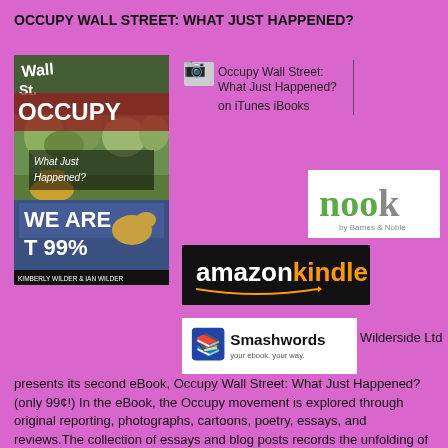OCCUPY WALL STREET: WHAT JUST HAPPENED?
[Figure (photo): Book cover of 'Occupy Wall Street: What Just Happened?' by Kimberly Wilder & Ian Wilder, showing protest crowd with 'We Are the 99%' sign]
[Figure (logo): Occupy Wall Street: What Just Happened? on iTunes iBooks badge]
[Figure (logo): Nook by Barnes & Noble logo on white background]
[Figure (logo): Amazon Kindle logo on black background]
[Figure (logo): Smashwords logo - your ebook. your way.]
Wilderside Ltd presents its second eBook, Occupy Wall Street: What Just Happened? (only 99¢!) In the eBook, the Occupy movement is explored through original reporting, photographs, cartoons, poetry, essays, and reviews.The collection of essays and blog posts records the unfolding of Occupy into the culture from September 2011 to the present. Authors Kimberly Wilder and Ian Wilder were early supporters of Occupy, using their internet platforms to communicate the changes